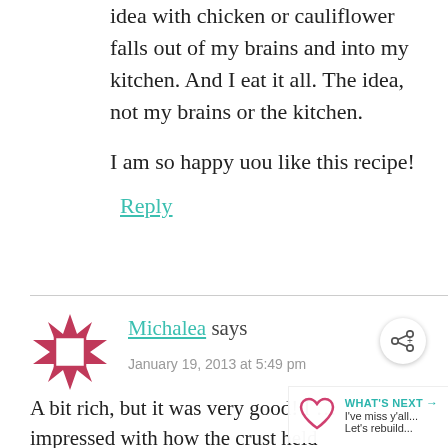idea with chicken or cauliflower falls out of my brains and into my kitchen. And I eat it all. The idea, not my brains or the kitchen.

I am so happy uou like this recipe!
Reply
[Figure (other): Pink/rose decorative quilt-star avatar icon for commenter Michalea]
Michalea says
January 19, 2013 at 5:49 pm
[Figure (other): Share button icon (circular with share symbol)]
A bit rich, but it was very good! I ... impressed with how the crust held
[Figure (other): WHAT'S NEXT arrow callout with heart icon, text: I've miss y'all... Let's rebuild...]